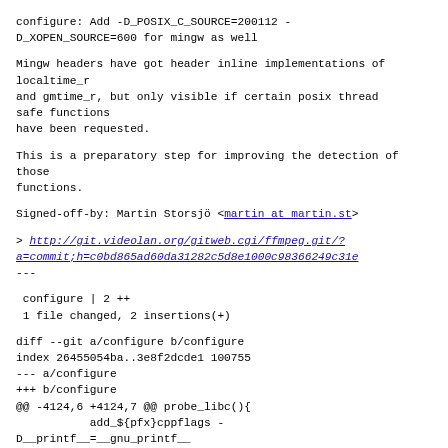configure: Add -D_POSIX_C_SOURCE=200112 -D_XOPEN_SOURCE=600 for mingw as well
Mingw headers have got header inline implementations of localtime_r
and gmtime_r, but only visible if certain posix thread safe functions
have been requested.
This is a preparatory step for improving the detection of those
functions.
Signed-off-by: Martin Storsjö <martin at martin.st>
> http://git.videolan.org/gitweb.cgi/ffmpeg.git/?a=commit;h=c0bd865ad60da31282c5d8e1000c98366249c31e
---
configure | 2 ++
 1 file changed, 2 insertions(+)
diff --git a/configure b/configure
index 26455054ba..3e8f2dcde1 100755
--- a/configure
+++ b/configure
@@ -4124,6 +4124,7 @@ probe_libc(){
            add_${pfx}cppflags -D__printf__=__gnu_printf__